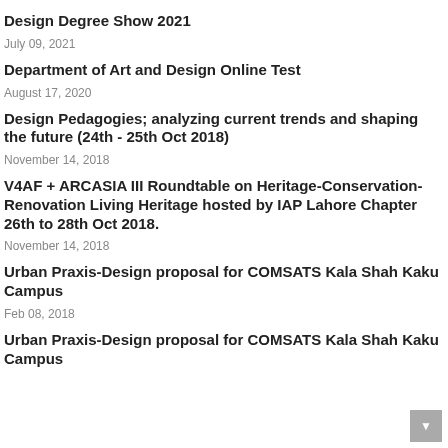Design Degree Show 2021
July 09, 2021
Department of Art and Design Online Test
August 17, 2020
Design Pedagogies; analyzing current trends and shaping the future (24th - 25th Oct 2018)
November 14, 2018
V4AF + ARCASIA III Roundtable on Heritage-Conservation-Renovation Living Heritage hosted by IAP Lahore Chapter 26th to 28th Oct 2018.
November 14, 2018
Urban Praxis-Design proposal for COMSATS Kala Shah Kaku Campus
Feb 08, 2018
Urban Praxis-Design proposal for COMSATS Kala Shah Kaku Campus